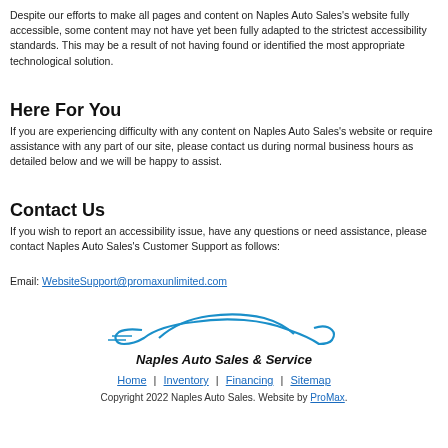Despite our efforts to make all pages and content on Naples Auto Sales's website fully accessible, some content may not have yet been fully adapted to the strictest accessibility standards. This may be a result of not having found or identified the most appropriate technological solution.
Here For You
If you are experiencing difficulty with any content on Naples Auto Sales's website or require assistance with any part of our site, please contact us during normal business hours as detailed below and we will be happy to assist.
Contact Us
If you wish to report an accessibility issue, have any questions or need assistance, please contact Naples Auto Sales's Customer Support as follows:
Email: WebsiteSupport@promaxunlimited.com
[Figure (logo): Naples Auto Sales & Service logo with a blue car outline above the text]
Home | Inventory | Financing | Sitemap
Copyright 2022 Naples Auto Sales. Website by ProMax.